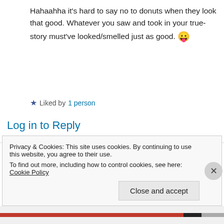Hahaahha it's hard to say no to donuts when they look that good. Whatever you saw and took in your true-story must've looked/smelled just as good. 😛
★ Liked by 1 person
Log in to Reply
The V Pub on July 19, 2019 at 9:57 AM
That would be very embarrassing!
Privacy & Cookies: This site uses cookies. By continuing to use this website, you agree to their use.
To find out more, including how to control cookies, see here: Cookie Policy
Close and accept